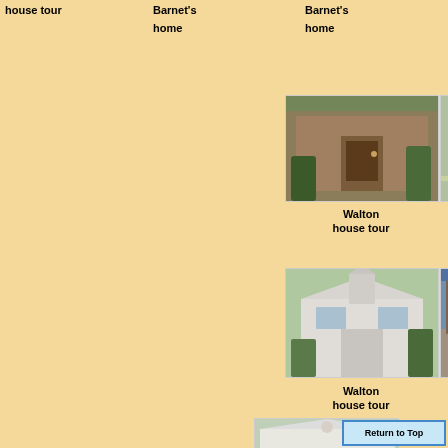Barnet's home
Barnet's home
house tour
[Figure (photo): Small cottage with door and plants]
Walton house tour
[Figure (photo): Victorian-style house with white picket fence]
Walton house tour
[Figure (photo): White church with steeple]
Walton house tour
[Figure (photo): White church with tall steeple]
Walton house tour
[Figure (photo): Street scene with storefronts and people]
Walton house tour
[Figure (photo): White building with columns and steps]
Walton house tour
[Figure (photo): White building facade with trees]
Return to Top